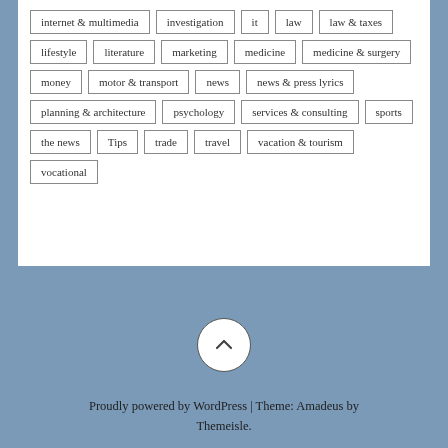internet & multimedia
investigation
it
law
law & taxes
lifestyle
literature
marketing
medicine
medicine & surgery
money
motor & transport
news
news & press lyrics
planning & architecture
psychology
services & consulting
sports
the news
Tips
trade
travel
vacation & tourism
vocational
Proudly powered by WordPress | Theme: Amadeus by Themeisle.